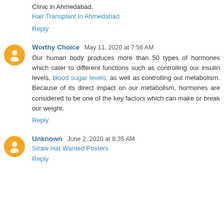Clinic in Ahmedabad.
Hair Transplant in Ahmedabad
Reply
Worthy Choice  May 11, 2020 at 7:56 AM
Our human body produces more than 50 types of hormones which cater to different functions such as controlling our insulin levels, blood sugar levels, as well as controlling out metabolism. Because of its direct impact on our metabolism, hormones are considered to be one of the key factors which can make or break our weight.
Reply
Unknown  June 2, 2020 at 8:35 AM
Straw Hat Wanted Posters
Reply